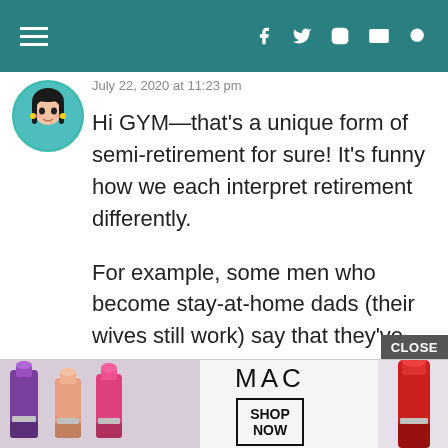Navigation header with hamburger menu and social icons (Facebook, Twitter, Instagram, Email, Search)
July 22, 2020 at 11:23 pm
Hi GYM—that's a unique form of semi-retirement for sure! It's funny how we each interpret retirement differently.

For example, some men who become stay-at-home dads (their wives still work) say that they've retired.

I don't think they're wrong. But I would feel very odd saying that of
[Figure (other): Advertisement banner for MAC cosmetics showing lipsticks with SHOP NOW button. CLOSE button visible above the ad.]